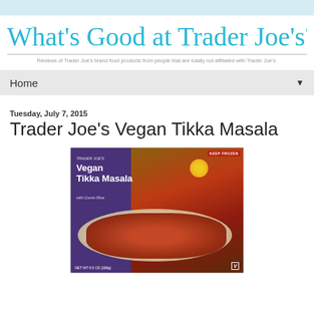[Figure (logo): What's Good at Trader Joe's? blog logo in cursive teal/cyan script with tagline: Reviews of Trader Joe's brand food products from people that are totally not affiliated with Trader Joe's.]
Home
Tuesday, July 7, 2015
Trader Joe's Vegan Tikka Masala
[Figure (photo): Trader Joe's Vegan Tikka Masala frozen food package showing product name, red curry sauce over white rice, KEEP FROZEN label, NET WT 9.5oz (269g), V badge, gold badge.]